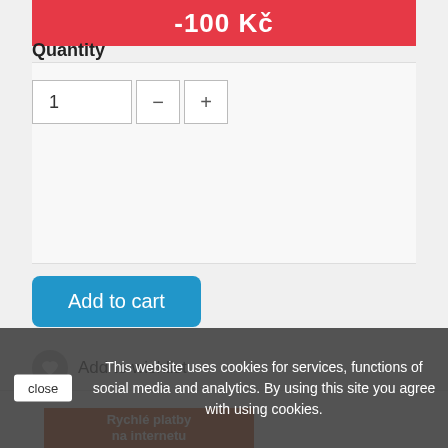-100 Kč
Quantity
1
Add to cart
Add to wishlist
[Figure (illustration): Orange banner with white text: Rychlé platby na internetu]
[Figure (illustration): Partial view of bank logos including ČSOB, Fio banka, era, UniCredit Bank]
This website uses cookies for services, functions of social media and analytics. By using this site you agree with using cookies.
close